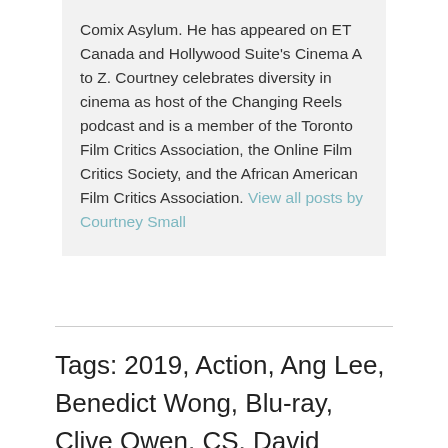Comix Asylum. He has appeared on ET Canada and Hollywood Suite's Cinema A to Z. Courtney celebrates diversity in cinema as host of the Changing Reels podcast and is a member of the Toronto Film Critics Association, the Online Film Critics Society, and the African American Film Critics Association. View all posts by Courtney Small
Tags: 2019, Action, Ang Lee, Benedict Wong, Blu-ray, Clive Owen, CS, David Shae, Douglas Hodge, DVD, E.J. Bonilla, Gemini Man, Ilia Volok, Linda Emond, Mary Elizabeth Winstead, Ralph Brown, Review, Theodora Miranne, Victor Hugo,